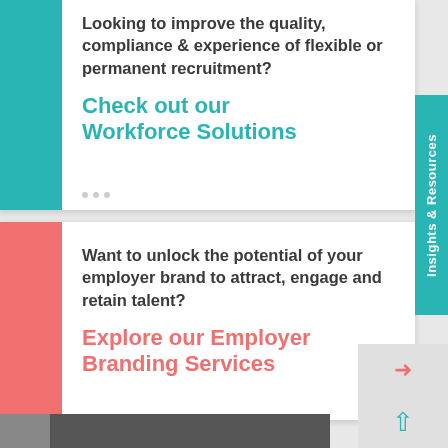Looking to improve the quality, compliance & experience of flexible or permanent recruitment?
Check out our Workforce Solutions
Want to unlock the potential of your employer brand to attract, engage and retain talent?
Explore our Employer Branding Services
Insights & Resources